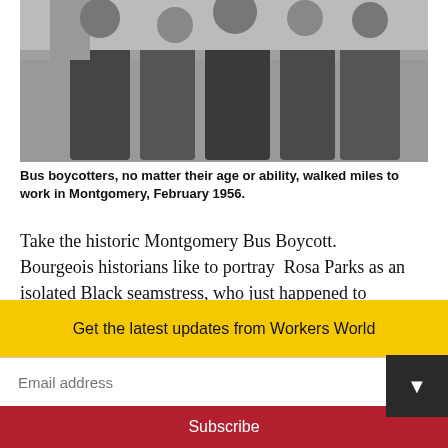[Figure (photo): Black and white photograph of bus boycotters walking, shot February 1956 in Montgomery, Alabama.]
Bus boycotters, no matter their age or ability, walked miles to work in Montgomery, February 1956.
Take the historic Montgomery Bus Boycott. Bourgeois historians like to portray  Rosa Parks as an isolated Black seamstress, who just happened to refuse to give up her seat to a white man on a segregated bus on Dec. 1, 1955.
The truth is that hers was a planned action
Get the latest updates from Workers World
Email address
Subscribe